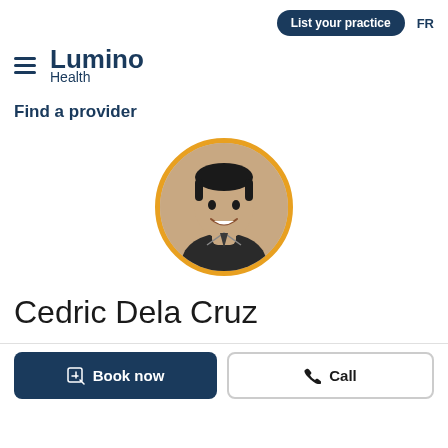List your practice   FR
[Figure (logo): Lumino Health logo with hamburger menu icon]
Find a provider
[Figure (photo): Circular profile photo of Cedric Dela Cruz with gold/yellow border ring, wearing dark polo shirt, smiling]
Cedric Dela Cruz
Book now   Call